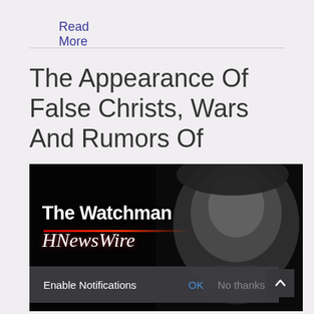Read More
The Appearance Of False Christs, Wars And Rumors Of
[Figure (photo): Black and white dramatic image of a man's face partially in shadow with overlay text 'The Watchman HNewsWire' in white, with a red underline beneath 'The Watchman']
Enable Notifications  OK  No thanks